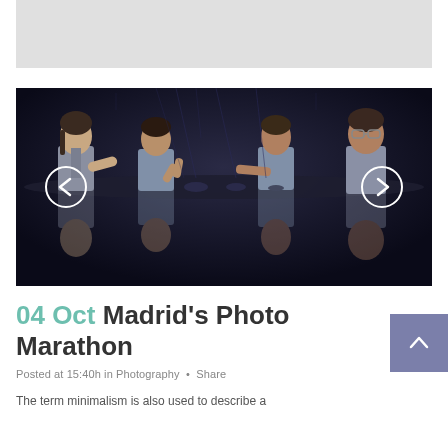[Figure (photo): Gray placeholder banner image at top of page]
[Figure (photo): Slideshow photo showing group of business people (4 people) in discussion around a dark reflective table, with left and right navigation arrows overlaid. Dark moody lighting.]
04 Oct Madrid's Photo Marathon
Posted at 15:40h in Photography • Share
The term minimalism is also used to describe a